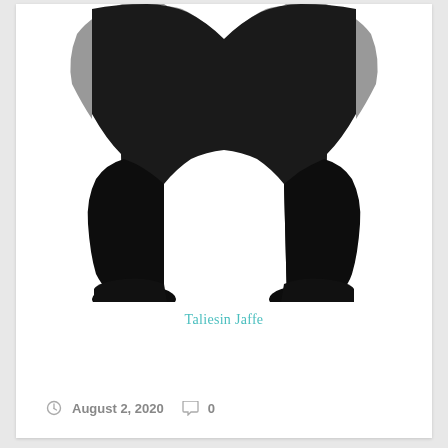[Figure (illustration): A silhouette illustration showing the lower body of a person wearing dark pants and flat shoes, with a grey coat/skirt visible at the top. The figure is cropped at the waist, showing legs and feet against a white background.]
Taliesin Jaffe
August 2, 2020  0